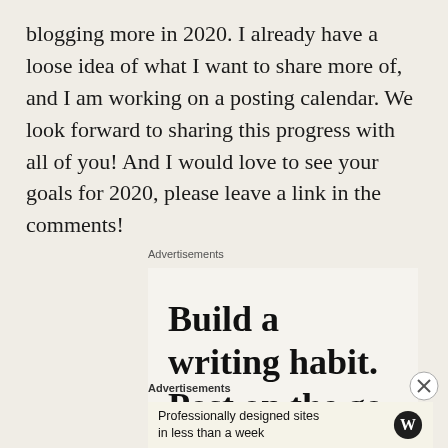blogging more in 2020. I already have a loose idea of what I want to share more of, and I am working on a posting calendar. We look forward to sharing this progress with all of you! And I would love to see your goals for 2020, please leave a link in the comments!
Advertisements
[Figure (screenshot): Advertisement banner: 'Build a writing habit. Post on the go.' in large serif font on light background]
[Figure (logo): Close/dismiss button (circled X) for the ad]
Advertisements
[Figure (screenshot): Small advertisement: 'Professionally designed sites in less than a week' with WordPress logo]